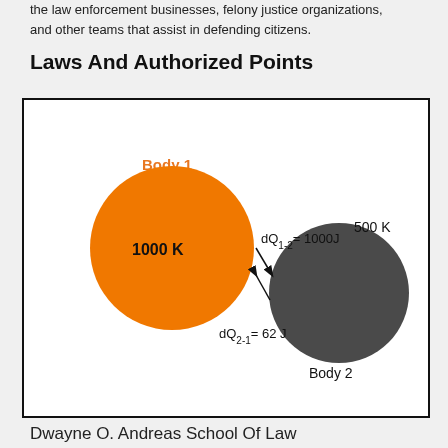the law enforcement businesses, felony justice organizations, and other teams that assist in defending citizens.
Laws And Authorized Points
[Figure (engineering-diagram): Thermodynamics diagram showing two bodies: Body 1 (orange circle, 1000 K) and Body 2 (dark gray circle, 500 K) with heat transfer arrows. dQ1-2 = 1000J arrow pointing from Body 1 to Body 2, and dQ2-1 = 62 J arrow pointing from Body 2 to Body 1.]
Dwayne O. Andreas School Of Law